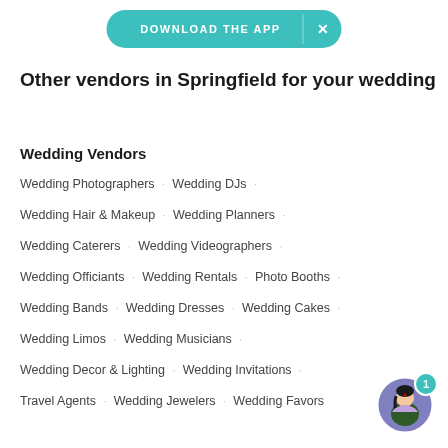[Figure (other): Teal download the app banner button with X close button]
Other vendors in Springfield for your wedding
Wedding Vendors
Wedding Photographers · Wedding DJs ·
Wedding Hair & Makeup · Wedding Planners ·
Wedding Caterers · Wedding Videographers ·
Wedding Officiants · Wedding Rentals · Photo Booths ·
Wedding Bands · Wedding Dresses · Wedding Cakes ·
Wedding Limos · Wedding Musicians ·
Wedding Decor & Lighting · Wedding Invitations ·
Travel Agents · Wedding Jewelers · Wedding Favors